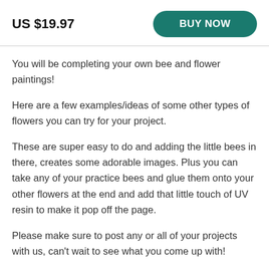US $19.97
BUY NOW
You will be completing your own bee and flower paintings!
Here are a few examples/ideas of some other types of flowers you can try for your project.
These are super easy to do and adding the little bees in there, creates some adorable images. Plus you can take any of your practice bees and glue them onto your other flowers at the end and add that little touch of UV resin to make it pop off the page.
Please make sure to post any or all of your projects with us, can't wait to see what you come up with!